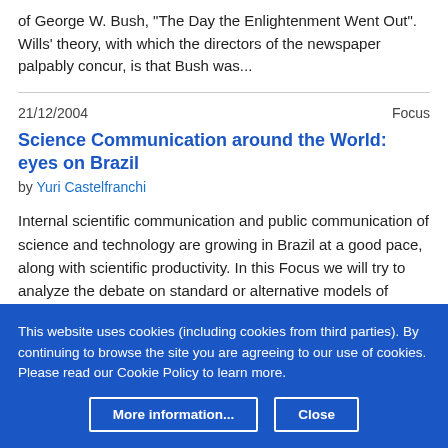of George W. Bush, "The Day the Enlightenment Went Out". Wills' theory, with which the directors of the newspaper palpably concur, is that Bush was...
21/12/2004    Focus
Science Communication around the World: eyes on Brazil
by Yuri Castelfranchi
Internal scientific communication and public communication of science and technology are growing in Brazil at a good pace, along with scientific productivity. In this Focus we will try to analyze the debate on standard or alternative models of communication of science that can...
This website uses cookies (including cookies from third parties). By continuing to browse the site you are agreeing to our use of cookies. Please read our Cookie Policy to learn more.
More information...   Close